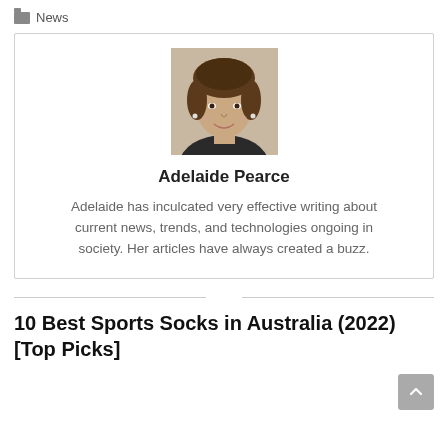News
[Figure (photo): Headshot photo of Adelaide Pearce, a woman with curly brown hair, smiling, wearing dark clothing]
Adelaide Pearce
Adelaide has inculcated very effective writing about current news, trends, and technologies ongoing in society. Her articles have always created a buzz.
10 Best Sports Socks in Australia (2022) [Top Picks]